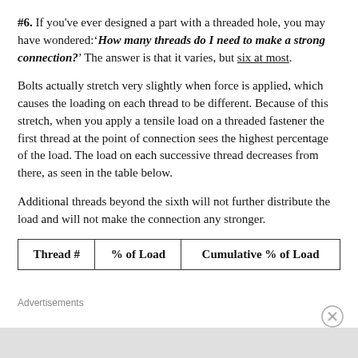#6. If you've ever designed a part with a threaded hole, you may have wondered: 'How many threads do I need to make a strong connection?' The answer is that it varies, but six at most.
Bolts actually stretch very slightly when force is applied, which causes the loading on each thread to be different. Because of this stretch, when you apply a tensile load on a threaded fastener the first thread at the point of connection sees the highest percentage of the load. The load on each successive thread decreases from there, as seen in the table below.
Additional threads beyond the sixth will not further distribute the load and will not make the connection any stronger.
| Thread # | % of Load | Cumulative % of Load |
| --- | --- | --- |
Advertisements